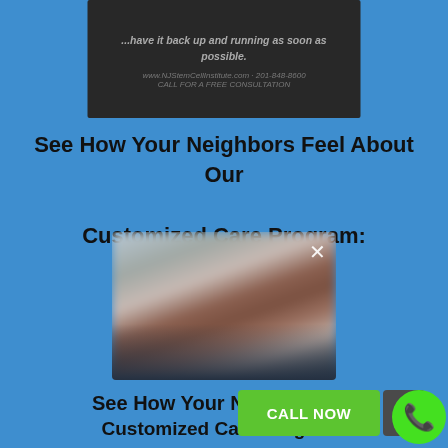[Figure (screenshot): Dark screenshot overlay showing website text with blurred content, website URL and phone number visible.]
See How Your Neighbors Feel About Our Customized Care Program:
[Figure (photo): Blurred video thumbnail showing a person's face, with an X close button in the upper right corner.]
See How Your Neighbors Feel About Our Customized Care Program:
CALL NOW
^
[Figure (other): Green phone icon circle button]